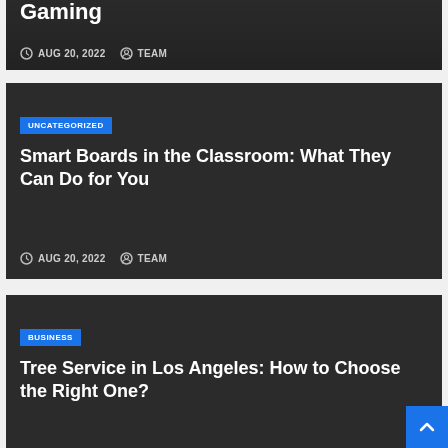[Figure (screenshot): Partial article card with title 'Gaming', date AUG 20, 2022, author TEAM, dark overlay on image background showing coins]
Smart Boards in the Classroom: What They Can Do for You
AUG 20, 2022  TEAM
Tree Service in Los Angeles: How to Choose the Right One?